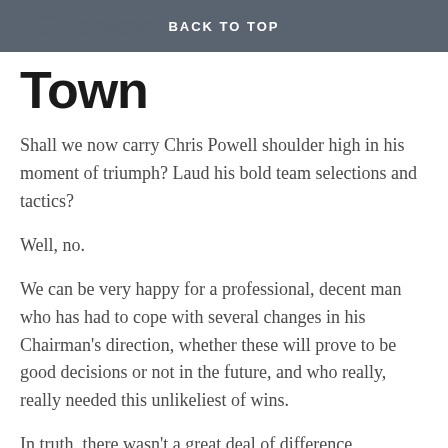– Charlton 1–2 BACK TO TOP Town
Town
Shall we now carry Chris Powell shoulder high in his moment of triumph? Laud his bold team selections and tactics?
Well, no.
We can be very happy for a professional, decent man who has had to cope with several changes in his Chairman's direction, whether these will prove to be good decisions or not in the future, and who really, really needed this unlikeliest of wins.
In truth, there wasn't a great deal of difference